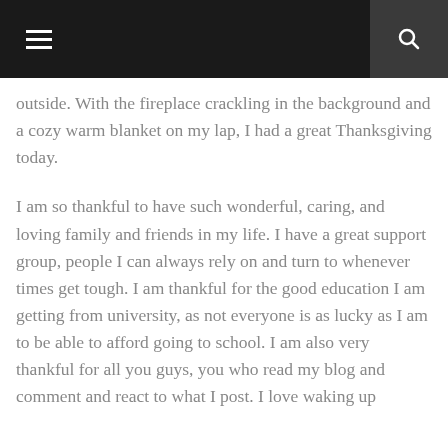outside. With the fireplace crackling in the background and a cozy warm blanket on my lap, I had a great Thanksgiving today.
I am so thankful to have such wonderful, caring, and loving family and friends in my life. I have a great support group, people I can always rely on and turn to whenever times get tough. I am thankful for the good education I am getting from university, as not everyone is as lucky as I am to be able to afford going to school. I am also very thankful for all you guys, you who read my blog and comment and react to what I post. I love waking up